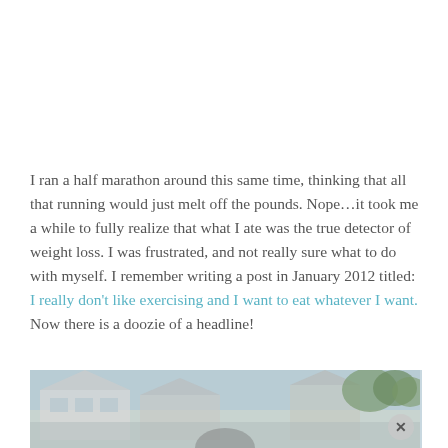I ran a half marathon around this same time, thinking that all that running would just melt off the pounds. Nope…it took me a while to fully realize that what I ate was the true detector of weight loss. I was frustrated, and not really sure what to do with myself. I remember writing a post in January 2012 titled: I really don't like exercising and I want to eat whatever I want. Now there is a doozie of a headline!
[Figure (photo): Outdoor photo showing suburban houses and trees, partially visible at the bottom of the page with a close button overlay]